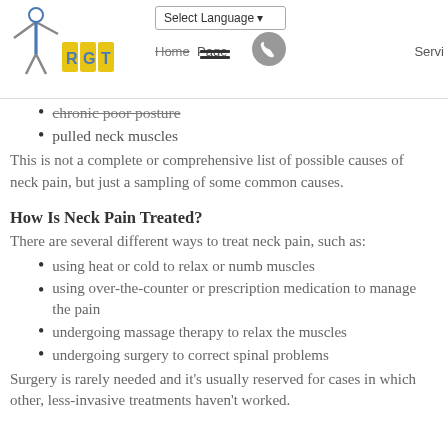RGT logo | Select Language | Home Page | Servi
chronic poor posture
pulled neck muscles
This is not a complete or comprehensive list of possible causes of neck pain, but just a sampling of some common causes.
How Is Neck Pain Treated?
There are several different ways to treat neck pain, such as:
using heat or cold to relax or numb muscles
using over-the-counter or prescription medication to manage the pain
undergoing massage therapy to relax the muscles
undergoing surgery to correct spinal problems
Surgery is rarely needed and it's usually reserved for cases in which other, less-invasive treatments haven't worked.